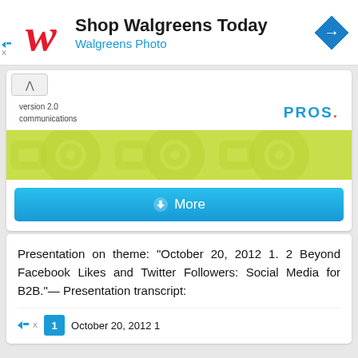[Figure (logo): Walgreens advertisement banner with cursive W logo, 'Shop Walgreens Today' title, 'Walgreens Photo' subtitle, and a blue diamond navigation arrow icon]
[Figure (screenshot): PROS version 2.0 communications presentation card with green decorative banner and a blue 'More' button]
Presentation on theme: "October 20, 2012 1. 2 Beyond Facebook Likes and Twitter Followers: Social Media for B2B."— Presentation transcript:
[Figure (screenshot): Bottom navigation area with ad controls, page number 1 button, and text 'October 20, 2012 1']